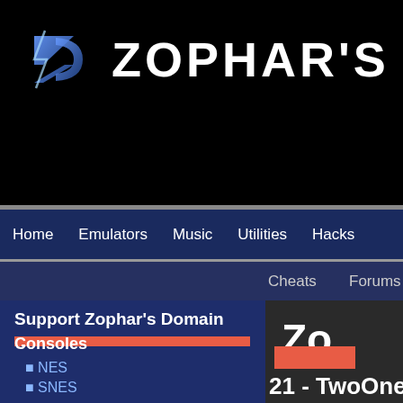ZOPHAR'S DOMA
Home   Emulators   Music   Utilities   Hacks
Cheats   Forums
Support Zophar's Domain
BECOME A PATRON
Search
Consoles
NES
SNES
Zo
21 - TwoOne